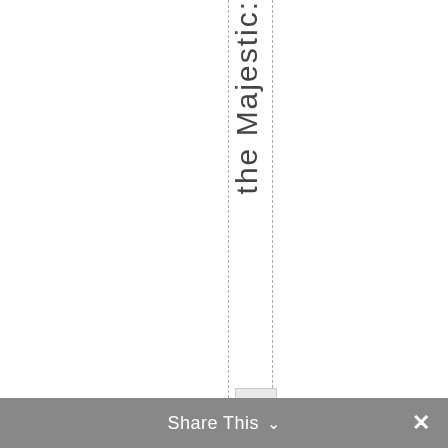the Majestic:
At $10 per car...
Share This ∨  ×